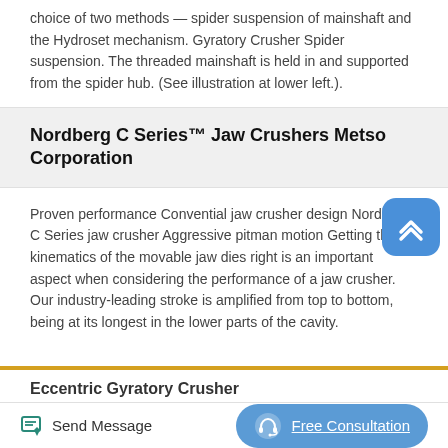choice of two methods — spider suspension of mainshaft and the Hydroset mechanism. Gyratory Crusher Spider suspension. The threaded mainshaft is held in and supported from the spider hub. (See illustration at lower left.).
Nordberg C Series™ Jaw Crushers Metso Corporation
Proven performance Convential jaw crusher design Nordberg C Series jaw crusher Aggressive pitman motion Getting the kinematics of the movable jaw dies right is an important aspect when considering the performance of a jaw crusher. Our industry-leading stroke is amplified from top to bottom, being at its longest in the lower parts of the cavity.
Eccentric Gyratory Crusher